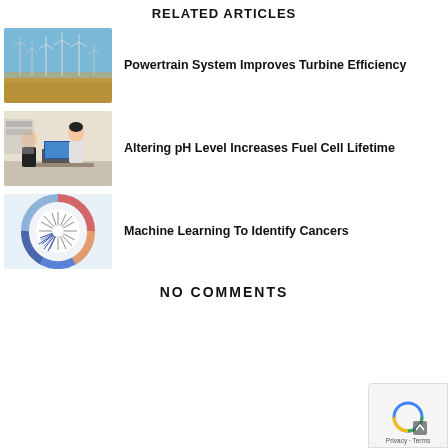RELATED ARTICLES
[Figure (photo): Wind turbines in a flat brown field under a blue sky]
Powertrain System Improves Turbine Efficiency
[Figure (photo): Two researchers in a laboratory with computer equipment]
Altering pH Level Increases Fuel Cell Lifetime
[Figure (other): Circular data visualization with radial color bands, blue and red, resembling a cancer genomics wheel]
Machine Learning To Identify Cancers
NO COMMENTS